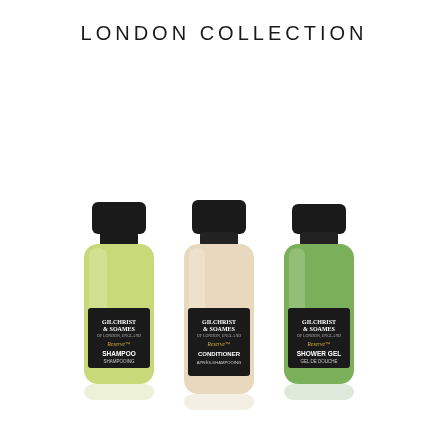LONDON COLLECTION
[Figure (photo): Three small travel-size bottles of Gilchrist & Soames Reserve collection: Shampoo (left, yellow-green liquid), Conditioner (center, cream/beige liquid), and Shower Gel (right, green liquid), each with black caps and black labels.]